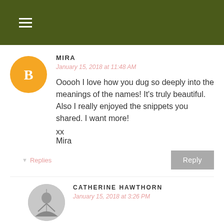≡ (hamburger menu)
MIRA
January 15, 2018 at 11:48 AM
Ooooh I love how you dug so deeply into the meanings of the names! It's truly beautiful. Also I really enjoyed the snippets you shared. I want more!

xx
Mira
Replies
Reply
CATHERINE HAWTHORN
January 15, 2018 at 3:26 PM